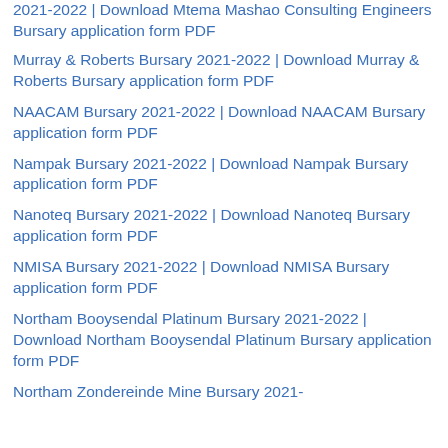2021-2022 | Download Mtema Mashao Consulting Engineers Bursary application form PDF
Murray & Roberts Bursary 2021-2022 | Download Murray & Roberts Bursary application form PDF
NAACAM Bursary 2021-2022 | Download NAACAM Bursary application form PDF
Nampak Bursary 2021-2022 | Download Nampak Bursary application form PDF
Nanoteq Bursary 2021-2022 | Download Nanoteq Bursary application form PDF
NMISA Bursary 2021-2022 | Download NMISA Bursary application form PDF
Northam Booysendal Platinum Bursary 2021-2022 | Download Northam Booysendal Platinum Bursary application form PDF
Northam Zondereinde Mine Bursary 2021-